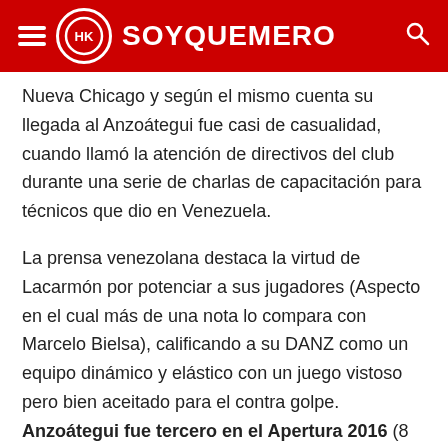SOYQUEMERO
Nueva Chicago y según el mismo cuenta su llegada al Anzoátegui fue casi de casualidad, cuando llamó la atención de directivos del club durante una serie de charlas de capacitación para técnicos que dio en Venezuela.
La prensa venezolana destaca la virtud de Lacarmón por potenciar a sus jugadores (Aspecto en el cual más de una nota lo compara con Marcelo Bielsa), calificando a su DANZ como un equipo dinámico y elástico con un juego vistoso pero bien aceitado para el contra golpe. Anzoátegui fue tercero en el Apertura 2016 (8 triunfos, 8 empates y 3 derrotas) y perdió la final de la liguilla clasificatoria a las copas (Lo cual lo clasificó a la Sudamericana 2016). Durante el Clausura 2016 perdió terreno finalizando noveno (9 triunfos, 2 empates y 8 derrotas) siendo uno de los más consistentes dentro...